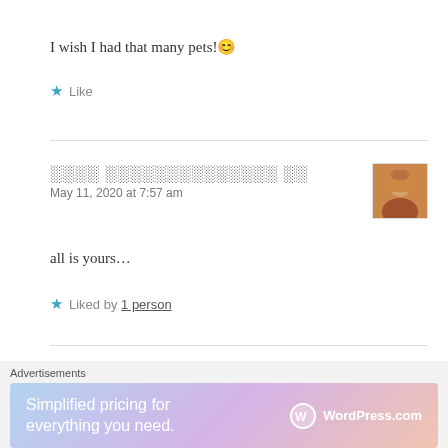I wish I had that many pets! 😊
★ Like
░░░░ ░░░░░░░░░░░░░░ ░░
May 11, 2020 at 7:57 am
all is yours…
★ Liked by 1 person
TiktGirl❤️
Advertisements
Simplified pricing for everything you need. WordPress.com